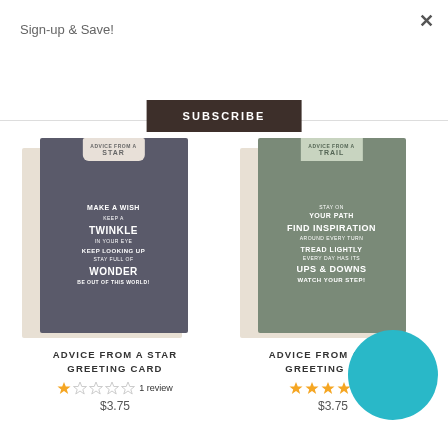Sign-up & Save!
SUBSCRIBE
[Figure (photo): Greeting card 'Advice from a Star' with starry night background and white inspirational text, shown with kraft envelope]
[Figure (photo): Greeting card 'Advice from a Trail' with forest path background and white inspirational text, shown with kraft envelope, partially obscured by teal circle]
ADVICE FROM A STAR GREETING CARD
ADVICE FROM A TRAIL GREETING CARD
1 review
1
$3.75
$3.75